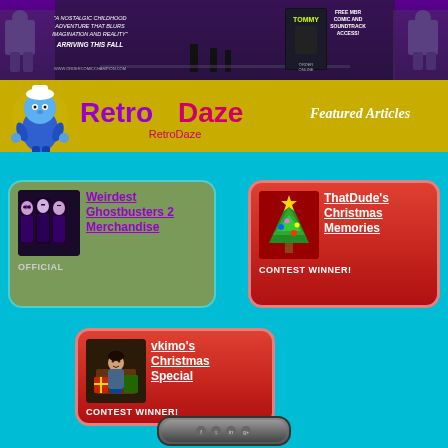[Figure (screenshot): Purple banner advertisement for a nostalgic comic/movie called Tommy. Text: 'A nostalgic childhood adventure that blurs imagination and reality' / 'ARRIVING THIS FALL' / www.ordercomicchampion.com. Right side shows book cover and 'FREE MBR COMIC AND SOUNDTRACK ACCESS!']
[Figure (logo): RetroDaze website logo on yellow background. Purple and pink stylized text 'RetroDaze' with a blue smurf-like character mascot on the left. Right side shows 'Featured Articles' in white italic text.]
[Figure (screenshot): Green card with cyan border: thumbnail image of Ghostbusters 2 cast in purple makeup, link text 'Weirdest Ghostbusters 2 Merchandise', badge text 'OFFICIAL']
[Figure (screenshot): Red card with pink border: thumbnail of Christmas tree illustration, link text 'ThatDude's Christmas Memories', badge text 'CONTEST WINNER!']
[Figure (screenshot): Red card with pink border centered: thumbnail of child at Christmas with toys, link text 'vkimo's Christmas Special', badge text 'CONTEST WINNER!']
[Figure (screenshot): Dark grey rounded navigation button at bottom center with social media icons]